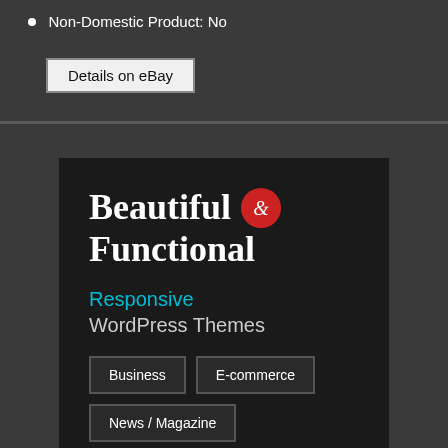Non-Domestic Product: No
Details on eBay
[Figure (illustration): Advertisement banner for Responsive WordPress Themes: 'Beautiful & Functional' with category buttons for Business, E-commerce, and News / Magazine]